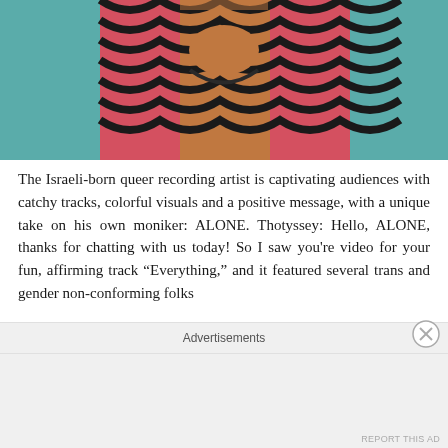[Figure (photo): Person wearing a pink and black patterned sleeveless top with a necklace, photographed from chest up against a teal background]
The Israeli-born queer recording artist is captivating audiences with catchy tracks, colorful visuals and a positive message, with a unique take on his own moniker: ALONE. Thotyssey: Hello, ALONE, thanks for chatting with us today! So I saw you're video for your fun, affirming track “Everything,” and it featured several trans and gender non-conforming folks
Advertisements